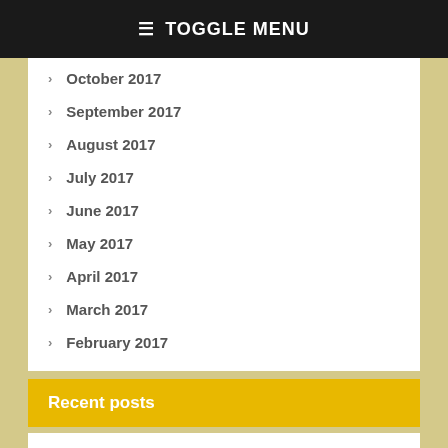≡ TOGGLE MENU
October 2017
September 2017
August 2017
July 2017
June 2017
May 2017
April 2017
March 2017
February 2017
Recent posts
Forgivness has Risen from the Grave August 19, 2022
COA live Q&A July. 27. 2022 by Fr. Anthony Mourad August 9, 2022